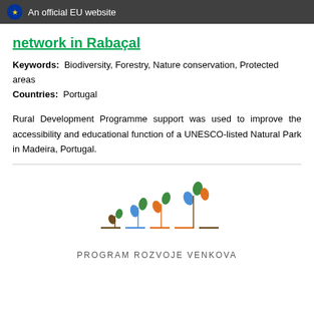An official EU website
network in Rabaçal
Keywords: Biodiversity, Forestry, Nature conservation, Protected areas
Countries: Portugal
Rural Development Programme support was used to improve the accessibility and educational function of a UNESCO-listed Natural Park in Madeira, Portugal.
[Figure (logo): Program Rozvoje Venkova logo with stylized plant/sprout icons in green, orange, blue and brown colors above the text PROGRAM ROZVOJE VENKOVA]